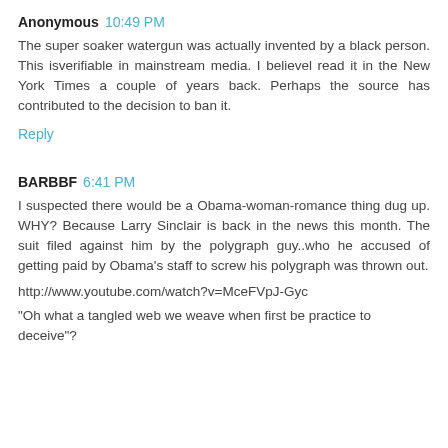Anonymous 10:49 PM
The super soaker watergun was actually invented by a black person. This isverifiable in mainstream media. I believel read it in the New York Times a couple of years back. Perhaps the source has contributed to the decision to ban it.
Reply
BARBBF 6:41 PM
I suspected there would be a Obama-woman-romance thing dug up. WHY? Because Larry Sinclair is back in the news this month. The suit filed against him by the polygraph guy..who he accused of getting paid by Obama's staff to screw his polygraph was thrown out.
http://www.youtube.com/watch?v=MceFVpJ-Gyc
"Oh what a tangled web we weave when first be practice to deceive"?